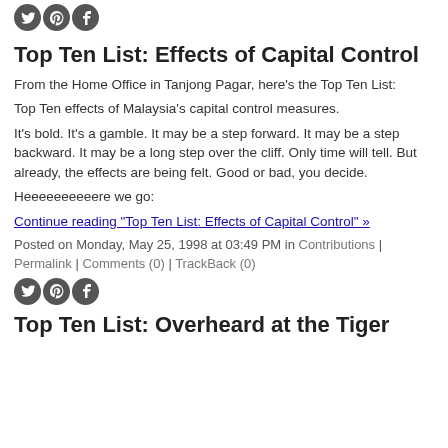[Figure (other): Social media share icons: Twitter, Pinterest, Facebook (top)]
Top Ten List: Effects of Capital Control
From the Home Office in Tanjong Pagar, here's the Top Ten List:
Top Ten effects of Malaysia's capital control measures.
It's bold. It's a gamble. It may be a step forward. It may be a step backward. It may be a long step over the cliff. Only time will tell. But already, the effects are being felt. Good or bad, you decide.
Heeeeeeeeeere we go:
Continue reading "Top Ten List: Effects of Capital Control" »
Posted on Monday, May 25, 1998 at 03:49 PM in Contributions | Permalink | Comments (0) | TrackBack (0)
[Figure (other): Social media share icons: Twitter, Pinterest, Facebook (bottom)]
Top Ten List: Overheard at the Tiger